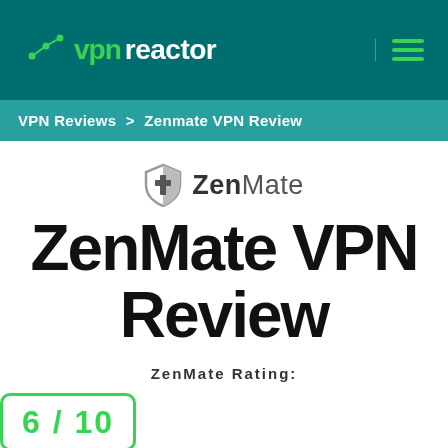vpnreactor
VPN Reviews > Zenmate VPN Review
[Figure (logo): ZenMate shield logo with text 'ZenMate']
ZenMate VPN Review
ZenMate Rating:
6 / 10